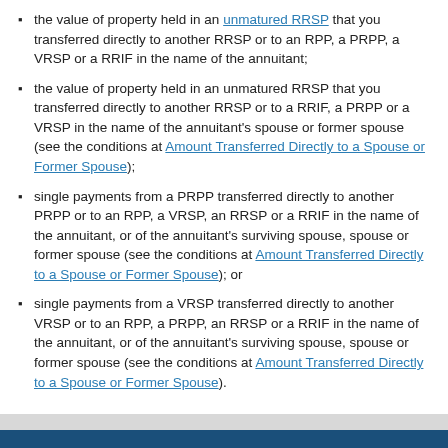the value of property held in an unmatured RRSP that you transferred directly to another RRSP or to an RPP, a PRPP, a VRSP or a RRIF in the name of the annuitant;
the value of property held in an unmatured RRSP that you transferred directly to another RRSP or to a RRIF, a PRPP or a VRSP in the name of the annuitant's spouse or former spouse (see the conditions at Amount Transferred Directly to a Spouse or Former Spouse);
single payments from a PRPP transferred directly to another PRPP or to an RPP, a VRSP, an RRSP or a RRIF in the name of the annuitant, or of the annuitant's surviving spouse, spouse or former spouse (see the conditions at Amount Transferred Directly to a Spouse or Former Spouse); or
single payments from a VRSP transferred directly to another VRSP or to an RPP, a PRPP, an RRSP or a RRIF in the name of the annuitant, or of the annuitant's surviving spouse, spouse or former spouse (see the conditions at Amount Transferred Directly to a Spouse or Former Spouse).